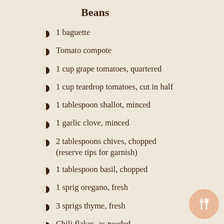Beans
1 baguette
Tomato compote
1 cup grape tomatoes, quartered
1 cup teardrop tomatoes, cut in half
1 tablespoon shallot, minced
1 garlic clove, minced
2 tablespoons chives, chopped (reserve tips for garnish)
1 tablespoon basil, chopped
1 sprig oregano, fresh
3 sprigs thyme, fresh
Chili flakes, as needed